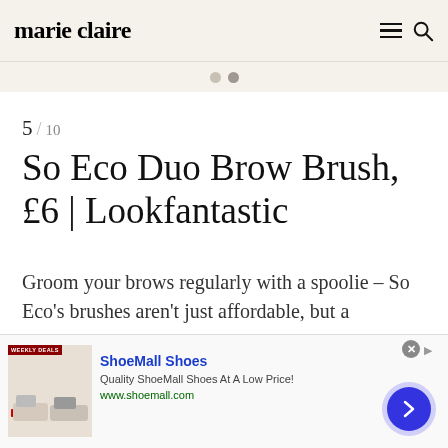marie claire
5 / 10
So Eco Duo Brow Brush, £6 | Lookfantastic
Groom your brows regularly with a spoolie – So Eco's brushes aren't just affordable, but a
[Figure (screenshot): Advertisement banner for ShoeMall Shoes with product image showing shoes, 'WEEKLY DEALS' badge, brand name 'ShoeMall Shoes', tagline 'Quality ShoeMall Shoes At A Low Price!', URL 'www.shoemall.com', close button, navigation arrow circle.]